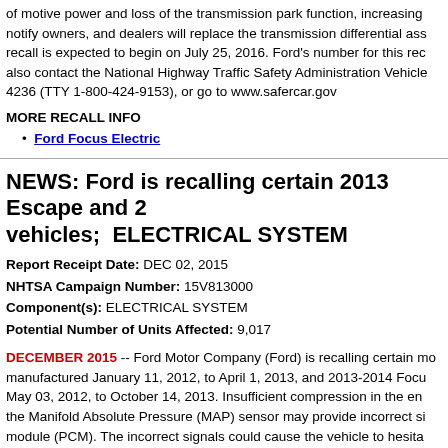of motive power and loss of the transmission park function, increasing notify owners, and dealers will replace the transmission differential ass recall is expected to begin on July 25, 2016. Ford's number for this rec also contact the National Highway Traffic Safety Administration Vehicle 4236 (TTY 1-800-424-9153), or go to www.safercar.gov
MORE RECALL INFO
Ford Focus Electric
NEWS: Ford is recalling certain 2013 Escape and 2 vehicles; ELECTRICAL SYSTEM
Report Receipt Date: DEC 02, 2015
NHTSA Campaign Number: 15V813000
Component(s): ELECTRICAL SYSTEM
Potential Number of Units Affected: 9,017
DECEMBER 2015 -- Ford Motor Company (Ford) is recalling certain mo manufactured January 11, 2012, to April 1, 2013, and 2013-2014 Focu May 03, 2012, to October 14, 2013. Insufficient compression in the en the Manifold Absolute Pressure (MAP) sensor may provide incorrect si module (PCM). The incorrect signals could cause the vehicle to hesita increasing the risk of a crash. Ford will notify owners, and dealers will splices with new splices, free of charge. The recall is expected to begi number for this recall is 14S17-S1. Owners may also contact the Nati Administration Vehicle Safety Hotline at 1-888-327-4236 (TTY 1-800-4 www.safercar.gov.